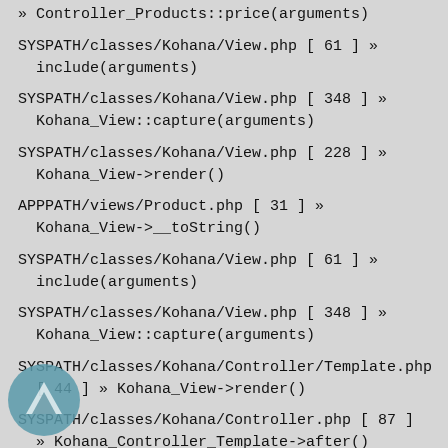» Controller_Products::price(arguments)
SYSPATH/classes/Kohana/View.php [ 61 ] » include(arguments)
SYSPATH/classes/Kohana/View.php [ 348 ] » Kohana_View::capture(arguments)
SYSPATH/classes/Kohana/View.php [ 228 ] » Kohana_View->render()
APPPATH/views/Product.php [ 31 ] » Kohana_View->__toString()
SYSPATH/classes/Kohana/View.php [ 61 ] » include(arguments)
SYSPATH/classes/Kohana/View.php [ 348 ] » Kohana_View::capture(arguments)
SYSPATH/classes/Kohana/Controller/Template.php [ 44 ] » Kohana_View->render()
SYSPATH/classes/Kohana/Controller.php [ 87 ] » Kohana_Controller_Template->after()
{PHP internal call} » Kohana_Controller->execute()
SYSPATH/classes/Kohana/Request/Client/Internal.php [ 97 ] » ReflectionMethod->invoke(arguments)